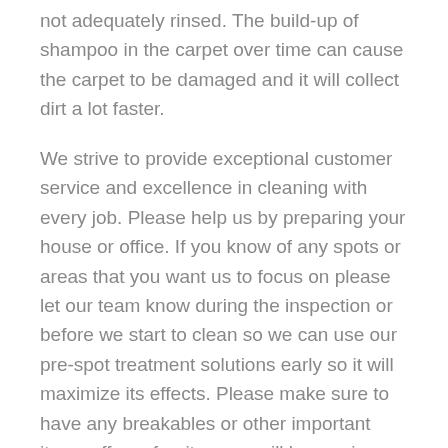not adequately rinsed. The build-up of shampoo in the carpet over time can cause the carpet to be damaged and it will collect dirt a lot faster.

We strive to provide exceptional customer service and excellence in cleaning with every job. Please help us by preparing your house or office. If you know of any spots or areas that you want us to focus on please let our team know during the inspection or before we start to clean so we can use our pre-spot treatment solutions early so it will maximize its effects. Please make sure to have any breakables or other important items off any furniture we will be moving. Please have the areas free from pets during the cleaning. You can expect most carpets to dry in a day so during that time it is best to keep toddlers and pets off the carpet. It is best to wait up to forty-eight hours before you move furniture back onto the carpet. You should